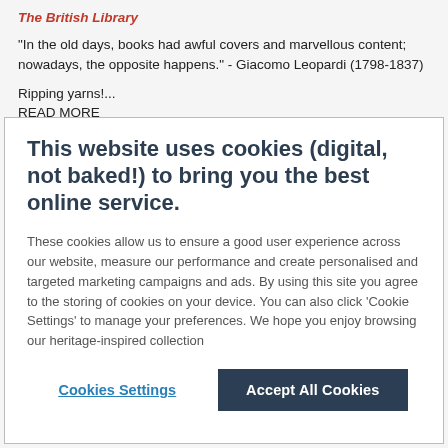The British Library
"In the old days, books had awful covers and marvellous content; nowadays, the opposite happens." - Giacomo Leopardi (1798-1837)
Ripping yarns!...
READ MORE
This website uses cookies (digital, not baked!) to bring you the best online service.
These cookies allow us to ensure a good user experience across our website, measure our performance and create personalised and targeted marketing campaigns and ads. By using this site you agree to the storing of cookies on your device. You can also click 'Cookie Settings' to manage your preferences. We hope you enjoy browsing our heritage-inspired collection
Cookies Settings
Accept All Cookies